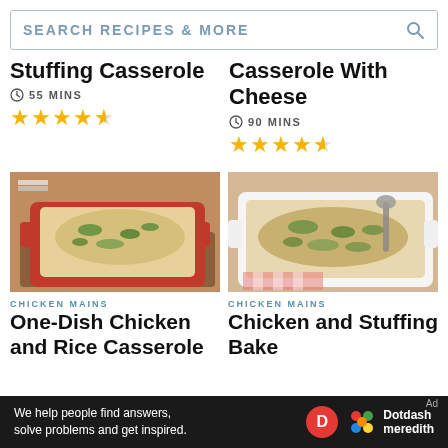SEARCH RECIPES & MORE
Stuffing Casserole
55 MINS
★★★★½ (4.5 stars)
Casserole With Cheese
90 MINS
★★★★½ (4.5 stars)
[Figure (photo): Red casserole dish with cheesy herb-topped stuffing casserole on wooden board]
CHICKEN MAINS
One-Dish Chicken and Rice Casserole
[Figure (photo): White casserole dish with herb-topped chicken and stuffing bake]
CHICKEN MAINS
Chicken and Stuffing Bake
We help people find answers, solve problems and get inspired. Dotdash meredith